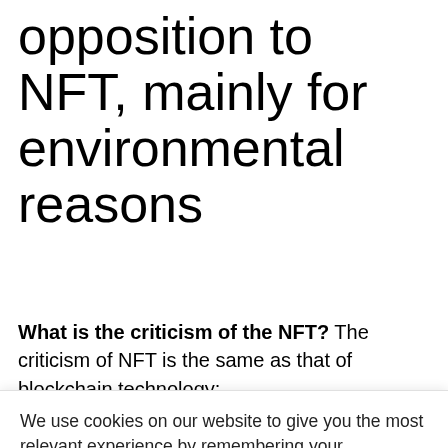opposition to NFT, mainly for environmental reasons
What is the criticism of the NFT? The criticism of NFT is the same as that of blockchain technology:
We use cookies on our website to give you the most relevant experience by remembering your preferences and repeat visits. By clicking “Accept All”, you consent to the use of ALL the cookies. However, you may visit "Cookie Settings" to provide a controlled consent.